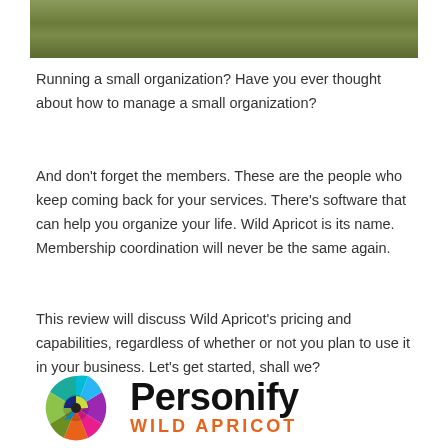[Figure (photo): Green grassy field photo strip at the top of the page]
Running a small organization? Have you ever thought about how to manage a small organization?
And don't forget the members. These are the people who keep coming back for your services. There's software that can help you organize your life. Wild Apricot is its name. Membership coordination will never be the same again.
This review will discuss Wild Apricot's pricing and capabilities, regardless of whether or not you plan to use it in your business. Let's get started, shall we?
[Figure (logo): Personify Wild Apricot logo with colorful pinwheel circle and bold text]